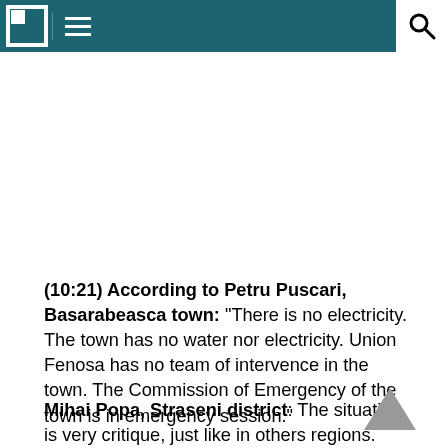Navigation header with logo and search icon
(10:21) According to Petru Puscari, Basarabeasca town: "There is no electricity. The town has no water nor electricity. Union Fenosa has no team of intervence in the town. The Commission of Emergency of the town is in emergency session."
Mihai Popa, Straseni district: The situation is very critique, just like in others regions. Several localities are blocked. Over 150 trees have fallen.
(10:00) The National Army intervenes with soldiers and special technicians to help the population and eliminate the consequences